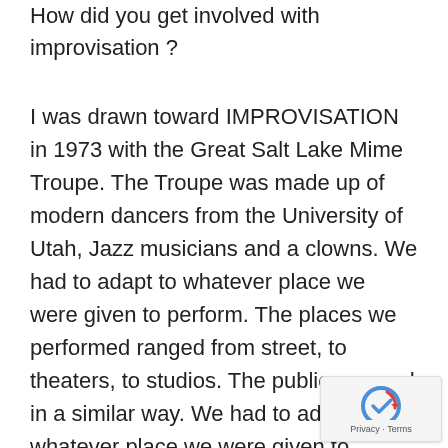How did you get involved with improvisation ?
I was drawn toward IMPROVISATION in 1973 with the Great Salt Lake Mime Troupe. The Troupe was made up of modern dancers from the University of Utah, Jazz musicians and a clowns. We had to adapt to whatever place we were given to perform. The places we performed ranged from street, to theaters, to studios. The publics ranged in a similar way. We had to adapt to whatever place we were given to perform. In 1973, I learned to...